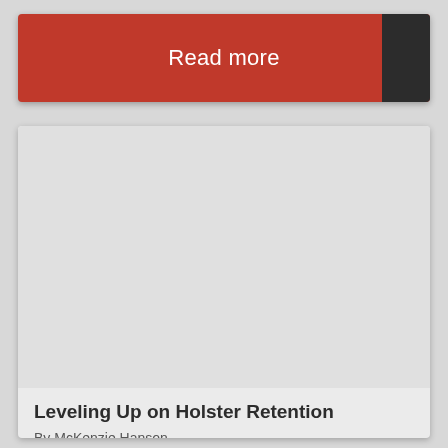Read more
[Figure (illustration): Light gray placeholder image area for article thumbnail]
Leveling Up on Holster Retention
By McKenzie Hanson